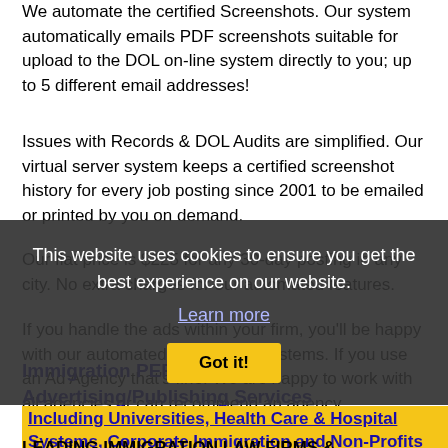We automate the certified Screenshots. Our system automatically emails PDF screenshots suitable for upload to the DOL on-line system directly to you; up to 5 different email addresses!
Issues with Records & DOL Audits are simplified. Our virtual server system keeps a certified screenshot history for every job posting since 2001 to be emailed or printed by you on demand.
Our flat price is $225 for any 30-day posting in any city. No extra charges for our automated features.
If you handle the ads within your firm, you'll be happy with our automated time saving systems. If you use an Ad Agency that's fine. We are happy to work with all agencies or can recommend an agency.
Immigration PERM Visa Job Advertising/Publishing Services
This website uses cookies to ensure you get the best experience on our website.
Learn more
Got it!
Including Universities, Health Care & Hospital Systems, Corporate Immigration and Non-Profits
LEADING IMMIGRATION LAW FIRMS & IMMIGRATION SPECIALISTS SAVE HUNDREDS OF DOLLARS PER PERM VISA